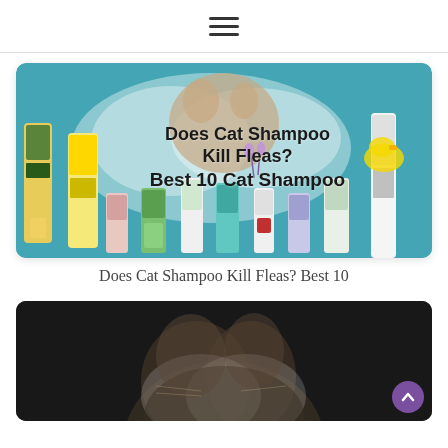☰ (hamburger menu icon)
[Figure (photo): Hero image of multiple cat shampoo bottles arranged on a teal/blue background with a cat visible and text overlay: 'Does Cat Shampoo Kill Fleas? Best 10 Cat Shampoo']
Does Cat Shampoo Kill Fleas? Best 10
[Figure (photo): Dark background image showing a cat silhouette, partially visible at bottom of page]